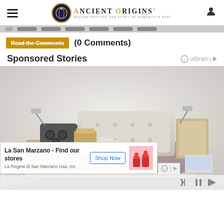Ancient Origins — Reconstructing the Story of Humanity's Past
Read the Comments   (0 Comments)
Sponsored Stories
[Figure (photo): Luxury smart bed with speakers, lamps, storage and reclining sections, shown at an angle on a white background. An advertisement overlay shows 'La San Marzano - Find our stores / La Regina di San Marzano Usa, Inc.' with a Shop Now button and product image.]